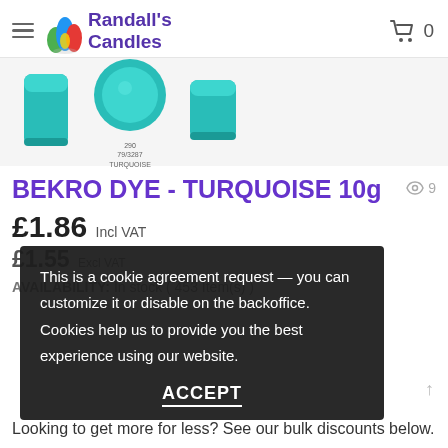Randall's Candles — Navigation header with hamburger menu and cart (0 items)
[Figure (photo): Three turquoise candle product images: tall pillar candle, top-view circle with color code '290 79/3287 TURQUOISE', and short pillar candle]
BEKRO DYE - TURQUOISE 10g
£1.86 Incl VAT
£1.55 Excl VAT
AVAILABILITY: In stock ( 453 Item(s) )
This is a cookie agreement request — you can customize it or disable on the backoffice. Cookies help us to provide you the best experience using our website.
ACCEPT
Looking to get more for less? See our bulk discounts below.